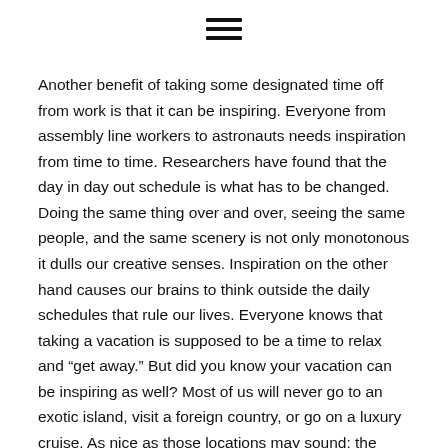[Figure (other): Hamburger menu icon — three horizontal parallel lines centered at top of page]
Another benefit of taking some designated time off from work is that it can be inspiring. Everyone from assembly line workers to astronauts needs inspiration from time to time. Researchers have found that the day in day out schedule is what has to be changed. Doing the same thing over and over, seeing the same people, and the same scenery is not only monotonous it dulls our creative senses. Inspiration on the other hand causes our brains to think outside the daily schedules that rule our lives. Everyone knows that taking a vacation is supposed to be a time to relax and “get away.” But did you know your vacation can be inspiring as well? Most of us will never go to an exotic island, visit a foreign country, or go on a luxury cruise. As nice as those locations may sound; the same effect can be achieved by canoeing down a scenic river, family camping at a state park, or by visiting an interesting museum. The old adage “inspiration is where you find it” was